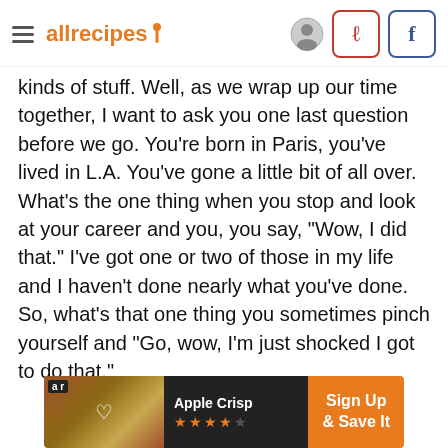allrecipes
kinds of stuff. Well, as we wrap up our time together, I want to ask you one last question before we go. You're born in Paris, you've lived in L.A. You've gone a little bit of all over. What's the one thing when you stop and look at your career and you, you say, "Wow, I did that." I've got one or two of those in my life and I haven't done nearly what you've done. So, what's that one thing you sometimes pinch yourself and "Go, wow, I'm just shocked I got to do that."
[Figure (other): Advertisement banner for Apple Crisp recipe with Sign Up & Save It call to action, showing food image, heart icon, orange stars rating, and orange CTA button]